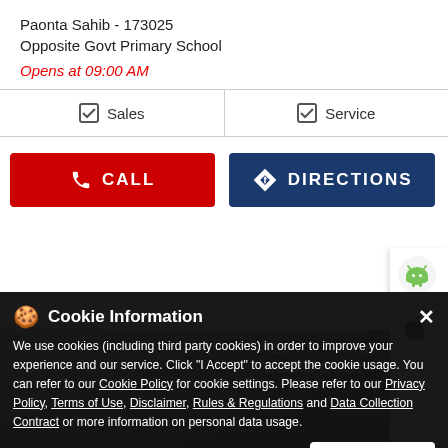Paonta Sahib - 173025
Opposite Govt Primary School
Opens at 09:00 AM
| Sales | Service |
| --- | --- |
[Figure (screenshot): CALL button (red) and DIRECTIONS button (blue)]
[Figure (photo): Motorcycle on road banner with text LET'S RAISE SOME DUST]
Featured Product
Cookie Information
We use cookies (including third party cookies) in order to improve your experience and our service. Click "I Accept" to accept the cookie usage. You can refer to our Cookie Policy for cookie settings. Please refer to our Privacy Policy, Terms of Use, Disclaimer, Rules & Regulations and Data Collection Contract or more information on personal data usage.